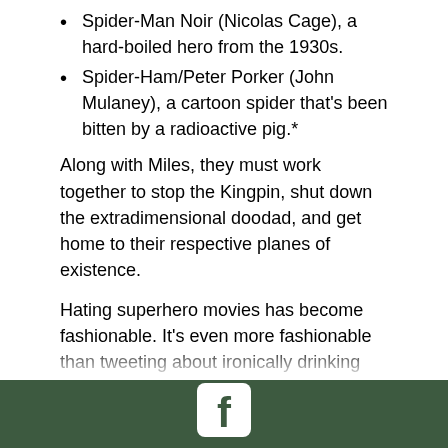Spider-Man Noir (Nicolas Cage), a hard-boiled hero from the 1930s.
Spider-Ham/Peter Porker (John Mulaney), a cartoon spider that's been bitten by a radioactive pig.*
Along with Miles, they must work together to stop the Kingpin, shut down the extradimensional doodad, and get home to their respective planes of existence.
Hating superhero movies has become fashionable. It's even more fashionable than tweeting about ironically drinking Pabst Blue Ribbon.** I get it. After the Marvel Cinematic Universe got up and running in 2008, a template was established that was rarely deviated from. Those films have made billions and entertained billions. If the MCU isn't your jam, it can sometimes feel a little…oh….omnipresent, no?
Bear in mind that the superhero genre isn't the problem, and when a movie pushes a genre into daring new territory, magic happens. With Spider-Man: Into the Spider-Verse, directors Bob Persichetti, Peter Ramsey, and Rodney Rothman have
[Figure (logo): Facebook logo icon in white on dark green footer bar]